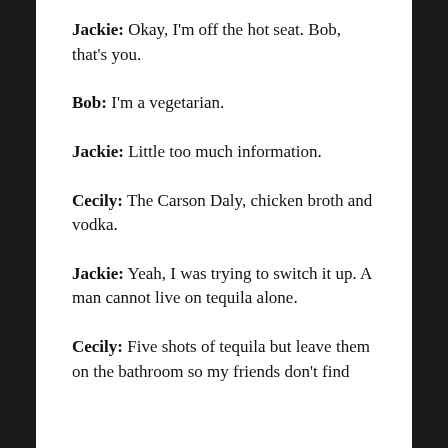Jackie: Okay, I'm off the hot seat. Bob, that's you.
Bob: I'm a vegetarian.
Jackie: Little too much information.
Cecily: The Carson Daly, chicken broth and vodka.
Jackie: Yeah, I was trying to switch it up. A man cannot live on tequila alone.
Cecily: Five shots of tequila but leave them on the bathroom so my friends don't find